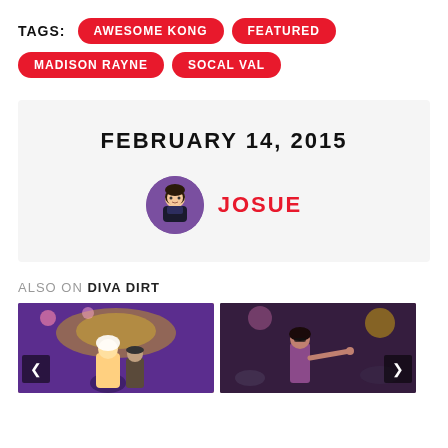TAGS: AWESOME KONG  FEATURED  MADISON RAYNE  SOCAL VAL
FEBRUARY 14, 2015
JOSUE
ALSO ON DIVA DIRT
[Figure (photo): Two thumbnail images from Diva Dirt — left shows a blonde woman at a wrestling event with purple/gold backdrop; right shows a woman in wrestling attire pointing at a colorful arena.]